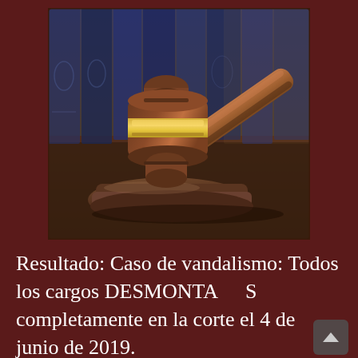[Figure (photo): A wooden judge's gavel resting on its sound block, with a row of dark blue law books blurred in the background. The gavel has a gold/brass band around its head. The scene is lit warmly on a wooden surface.]
Resultado: Caso de vandalismo: Todos los cargos DESMONTADOS completamente en la corte el 4 de junio de 2019.